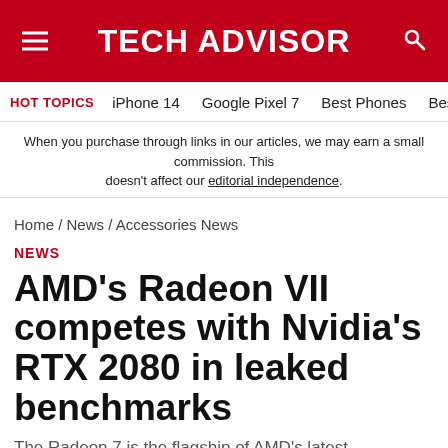TECH ADVISOR
HOT TOPICS   iPhone 14   Google Pixel 7   Best Phones   Best Lapt
When you purchase through links in our articles, we may earn a small commission. This doesn't affect our editorial independence.
Home / News / Accessories News
NEWS
AMD's Radeon VII competes with Nvidia's RTX 2080 in leaked benchmarks
The Radeon 7 is the flagship of AMD's latest